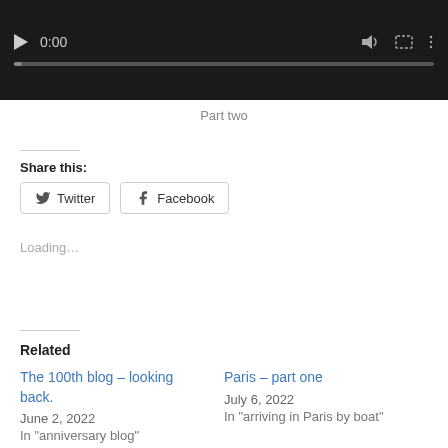[Figure (screenshot): Video player with dark background showing play button, 0:00 timestamp, volume, fullscreen and menu icons, and a progress bar]
Part two
Share this:
Twitter  Facebook
Loading…
Related
The 100th blog – looking back.
June 2, 2022
In "anniversary blog"
Paris – part one
July 6, 2022
In "arriving in Paris by boat"